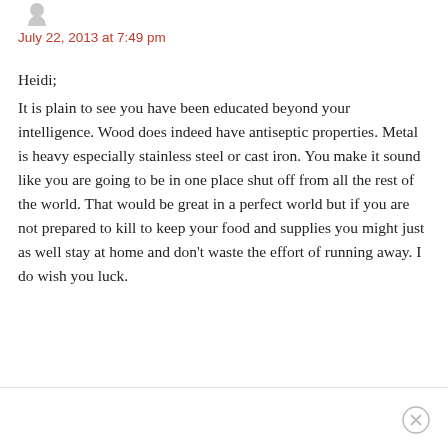[Figure (other): Small grey avatar/user icon at top left]
July 22, 2013 at 7:49 pm
Heidi;
It is plain to see you have been educated beyond your intelligence. Wood does indeed have antiseptic properties. Metal is heavy especially stainless steel or cast iron. You make it sound like you are going to be in one place shut off from all the rest of the world. That would be great in a perfect world but if you are not prepared to kill to keep your food and supplies you might just as well stay at home and don't waste the effort of running away. I do wish you luck.